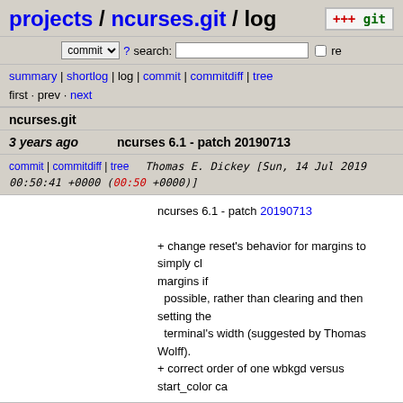projects / ncurses.git / log
commit ? search: re
summary | shortlog | log | commit | commitdiff | tree
first · prev · next
ncurses.git
3 years ago   ncurses 6.1 - patch 20190713
commit | commitdiff | tree   Thomas E. Dickey [Sun, 14 Jul 2019 00:50:41 +0000 (00:50 +0000)]
ncurses 6.1 - patch 20190713
+ change reset's behavior for margins to simply cl margins if
  possible, rather than clearing and then setting the terminal's width (suggested by Thomas Wolff).
+ correct order of one wbkgd versus start_color ca
3 years ago   ncurses 6.1 - patch 20190706
commit | commitdiff | tree   Thomas E. Dickey [Sun, 7 Jul 2019 00:14:47 +0000 (00:14 +0000)]
ncurses 6.1 - patch 20190706